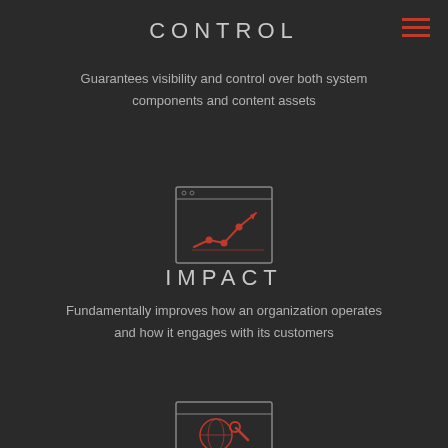CONTROL
Guarantees visibility and control over both system components and content assets
[Figure (illustration): Browser/monitor frame icon with a rising line chart and data points in orange/red color on dark background]
IMPACT
Fundamentally improves how an organization operates and how it engages with its customers
[Figure (illustration): Browser/monitor frame icon with a globe and tools/wrench icon in orange/red color on dark background]